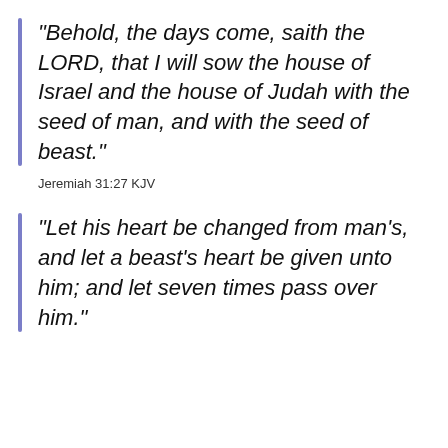“Behold, the days come, saith the LORD, that I will sow the house of Israel and the house of Judah with the seed of man, and with the seed of beast.”
Jeremiah 31:27 KJV
“Let his heart be changed from man’s, and let a beast’s heart be given unto him; and let seven times pass over him.”